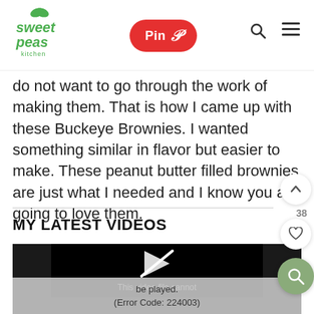Sweet Peas Kitchen — Pin | Search | Menu
do not want to go through the work of making them. That is how I came up with these Buckeye Brownies. I wanted something similar in flavor but easier to make. These peanut butter filled brownies are just what I needed and I know you are going to love them.
MY LATEST VIDEOS
[Figure (screenshot): Video player showing error message: 'This video file cannot be played. (Error Code: 224003)']